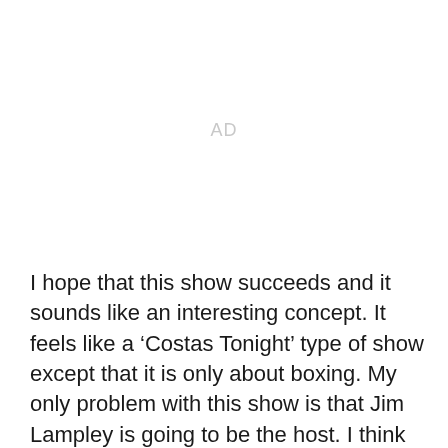[Figure (other): Advertisement placeholder area with 'AD' label in light gray]
I hope that this show succeeds and it sounds like an interesting concept. It feels like a ‘Costas Tonight’ type of show except that it is only about boxing. My only problem with this show is that Jim Lampley is going to be the host. I think that this show could be very successful with someone like Max Kellerman being the